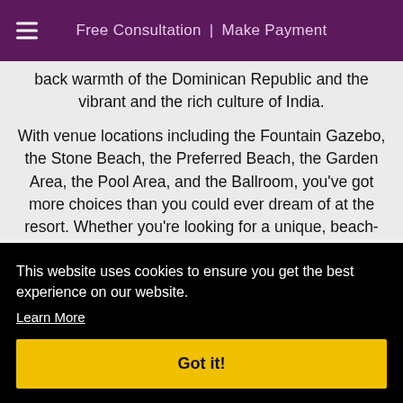Free Consultation | Make Payment
back warmth of the Dominican Republic and the vibrant and the rich culture of India.
With venue locations including the Fountain Gazebo, the Stone Beach, the Preferred Beach, the Garden Area, the Pool Area, and the Ballroom, you've got more choices than you could ever dream of at the resort. Whether you're looking for a unique, beach- [partial text cut off]
This website uses cookies to ensure you get the best experience on our website.
Learn More
Got it!
included in your wedding: